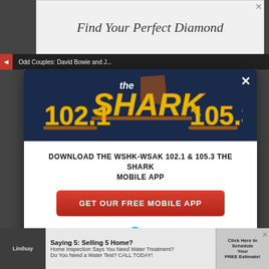[Figure (screenshot): Top banner advertisement for jewelry - Find Your Perfect Diamond]
[Figure (screenshot): Dark navy modal header with 102.1 The Shark 105.3 radio station logo in yellow and red]
DOWNLOAD THE WSHK-WSAK 102.1 & 105.3 THE SHARK MOBILE APP
GET OUR FREE MOBILE APP
Also listen on: amazon alexa
Odd Couples: David Bowie and J...
[Figure (screenshot): Bottom advertisement about home inspection and water treatment]
[Figure (screenshot): Bottom right ad button - Click Here to Schedule Your FREE Estimate]